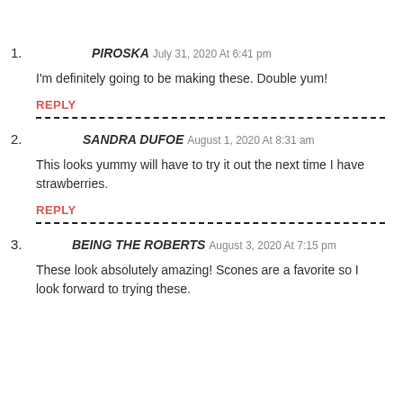1. PIROSKA July 31, 2020 At 6:41 pm
I'm definitely going to be making these. Double yum!
REPLY
2. SANDRA DUFOE August 1, 2020 At 8:31 am
This looks yummy will have to try it out the next time I have strawberries.
REPLY
3. BEING THE ROBERTS August 3, 2020 At 7:15 pm
These look absolutely amazing! Scones are a favorite so I look forward to trying these.